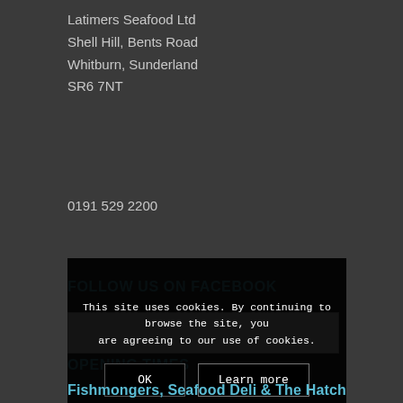Latimers Seafood Ltd
Shell Hill, Bents Road
Whitburn, Sunderland
SR6 7NT
0191 529 2200
FOLLOW US ON FACEBOOK
[Figure (other): White Facebook embed box]
OPENING TIMES
Updated 12th
This site uses cookies. By continuing to browse the site, you are agreeing to our use of cookies.
OK
Learn more
Fishmongers, Seafood Deli & The Hatch